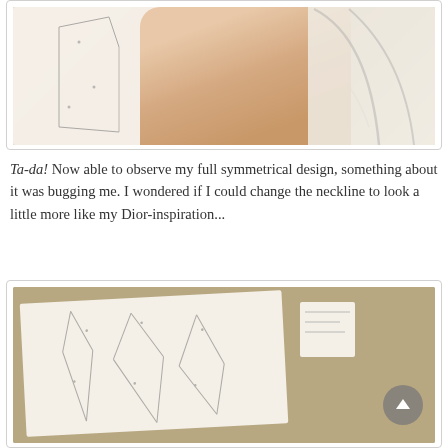[Figure (photo): Close-up photo of a hand (wearing a ring) pressing down on sewing pattern paper with a curved plastic ruler/template visible on the right side. The pattern is drawn on white paper over a kraft/tan surface.]
Ta-da! Now able to observe my full symmetrical design, something about it was bugging me. I wondered if I could change the neckline to look a little more like my Dior-inspiration...
[Figure (photo): Photo of sewing pattern pieces laid out on a kraft/tan surface. There are white paper pattern pieces with pencil sketch lines showing a garment design, a small square piece of paper, and a circular scroll-up navigation button in the bottom right corner.]